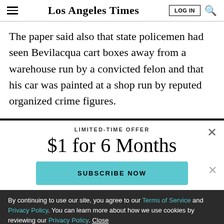Los Angeles Times
The paper said also that state policemen had seen Bevilacqua cart boxes away from a warehouse run by a convicted felon and that his car was painted at a shop run by reputed organized crime figures.
LIMITED-TIME OFFER
$1 for 6 Months
SUBSCRIBE NOW
By continuing to use our site, you agree to our Terms of Service and Privacy Policy. You can learn more about how we use cookies by reviewing our Privacy Policy. Close